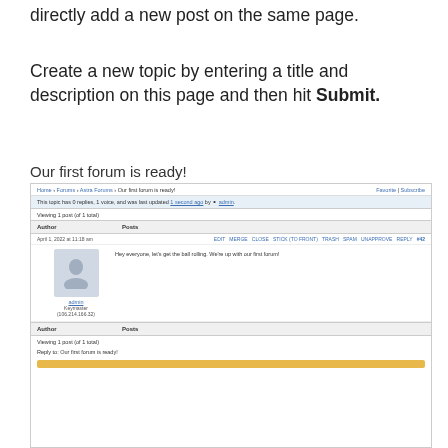directly add a new post on the same page.
Create a new topic by entering a title and description on this page and then hit Submit.
Our first forum is ready!
[Figure (screenshot): Screenshot of a forum topic page showing breadcrumb navigation, topic info bar, post by admin with avatar, author/posts columns, viewing count, and reply section at bottom.]